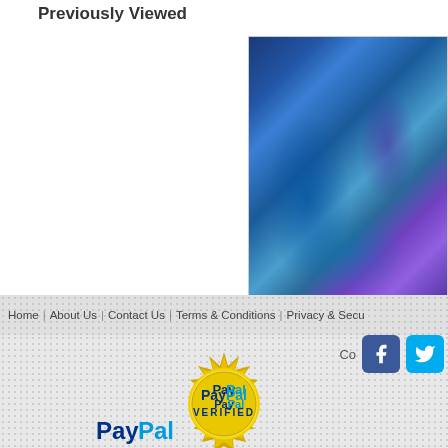Previously Viewed
[Figure (photo): Partially visible product card showing an oil painting on canvas of trees in blue and purple tones, titled starting with 'Mo', priced at US$1,435]
Oil on canvas, 'Mo...
US$1,435
Home | About Us | Contact Us | Terms & Conditions | Privacy & Secu...
Co...
[Figure (logo): Facebook button (blue square with f logo)]
[Figure (logo): Twitter button (blue square with bird logo)]
[Figure (logo): PayPal Verified gold seal badge]
[Figure (logo): PayPal logo (partially visible at bottom)]